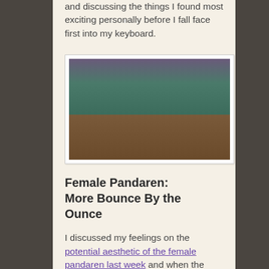and discussing the things I found most exciting personally before I fall face first into my keyboard.
[Figure (screenshot): In-game screenshot of a female Pandaren character standing on a wooden dock or bridge with a colorful fantasy environment in the background.]
Female Pandaren: More Bounce By the Ounce
I discussed my feelings on the potential aesthetic of the female pandaren last week and when the screenshots of the in-